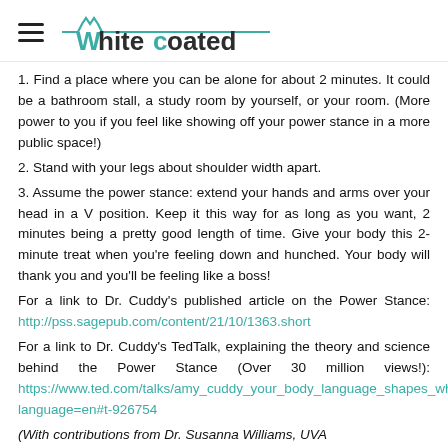Whitecoated
1. Find a place where you can be alone for about 2 minutes. It could be a bathroom stall, a study room by yourself, or your room. (More power to you if you feel like showing off your power stance in a more public space!)
2. Stand with your legs about shoulder width apart.
3. Assume the power stance: extend your hands and arms over your head in a V position. Keep it this way for as long as you want, 2 minutes being a pretty good length of time. Give your body this 2-minute treat when you're feeling down and hunched. Your body will thank you and you'll be feeling like a boss!
For a link to Dr. Cuddy's published article on the Power Stance: http://pss.sagepub.com/content/21/10/1363.short
For a link to Dr. Cuddy's TedTalk, explaining the theory and science behind the Power Stance (Over 30 million views!): https://www.ted.com/talks/amy_cuddy_your_body_language_shapes_who_you_are?language=en#t-926754
(With contributions from Dr. Susanna Williams, UVA